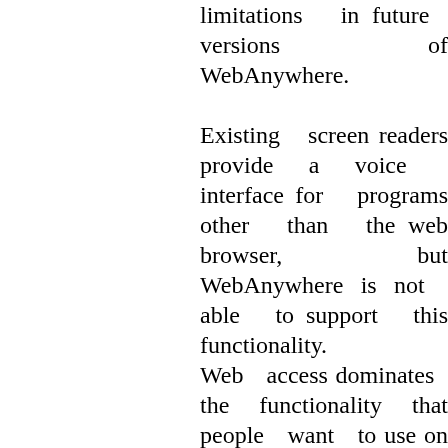limitations in future versions of WebAnywhere. Existing screen readers provide a voice interface for programs other than the web browser, but WebAnywhere is not able to support this functionality. Web access dominates the functionality that people want to use on computers that are not their own, but people often want to read document files that are normally locally loaded